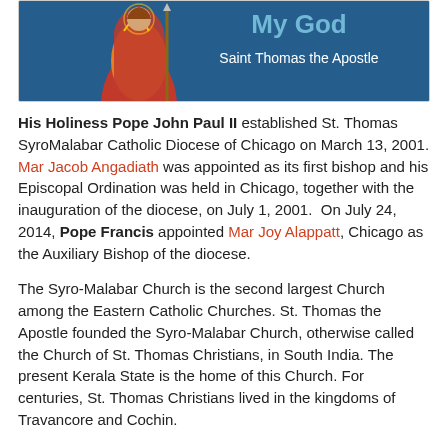[Figure (illustration): Banner image showing Saint Thomas the Apostle in orange/red robes on a blue background with text 'My God' and 'Saint Thomas the Apostle']
His Holiness Pope John Paul II established St. Thomas SyroMalabar Catholic Diocese of Chicago on March 13, 2001. Mar Jacob Angadiath was appointed as its first bishop and his Episcopal Ordination was held in Chicago, together with the inauguration of the diocese, on July 1, 2001. On July 24, 2014, Pope Francis appointed Mar Joy Alappatt, Chicago as the Auxiliary Bishop of the diocese.
The Syro-Malabar Church is the second largest Church among the Eastern Catholic Churches. St. Thomas the Apostle founded the Syro-Malabar Church, otherwise called the Church of St. Thomas Christians, in South India. The present Kerala State is the home of this Church. For centuries, St. Thomas Christians lived in the kingdoms of Travancore and Cochin.
The first step of migration of our people was to the Malabar region to the north and High Ranges to the East. Since the faithful were mostly farmers, they were looking for farm land